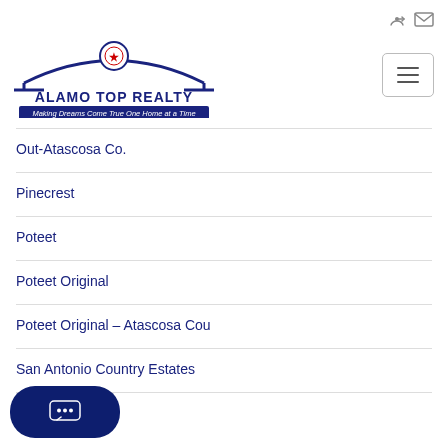[Figure (logo): Alamo Top Realty logo with arch shape, star icon, and tagline 'Making Dreams Come True One Home at a Time']
Out-Atascosa Co.
Pinecrest
Poteet
Poteet Original
Poteet Original – Atascosa Cou
San Antonio Country Estates
llage